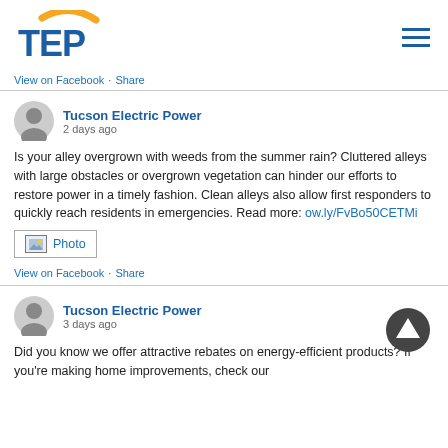[Figure (logo): TEP (Tucson Electric Power) logo with blue text and yellow arc]
View on Facebook · Share
Tucson Electric Power
2 days ago
Is your alley overgrown with weeds from the summer rain? Cluttered alleys with large obstacles or overgrown vegetation can hinder our efforts to restore power in a timely fashion. Clean alleys also allow first responders to quickly reach residents in emergencies. Read more: ow.ly/FvBo50CETMi
Photo
View on Facebook · Share
Tucson Electric Power
3 days ago
Did you know we offer attractive rebates on energy-efficient products? If you're making home improvements, check our